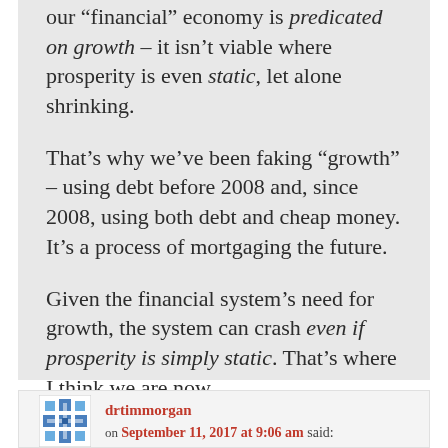our "financial" economy is predicated on growth – it isn't viable where prosperity is even static, let alone shrinking.
That's why we've been faking "growth" – using debt before 2008 and, since 2008, using both debt and cheap money. It's a process of mortgaging the future.
Given the financial system's need for growth, the system can crash even if prosperity is simply static. That's where I think we are now.
drtimmorgan on September 11, 2017 at 9:06 am said: